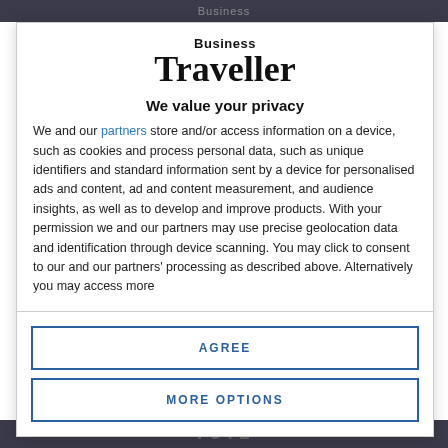Business Traveller
[Figure (logo): Business Traveller logo with 'Business' in small bold text above 'Traveller' in large serif bold text]
We value your privacy
We and our partners store and/or access information on a device, such as cookies and process personal data, such as unique identifiers and standard information sent by a device for personalised ads and content, ad and content measurement, and audience insights, as well as to develop and improve products. With your permission we and our partners may use precise geolocation data and identification through device scanning. You may click to consent to our and our partners' processing as described above. Alternatively you may access more
AGREE
MORE OPTIONS
VOTE